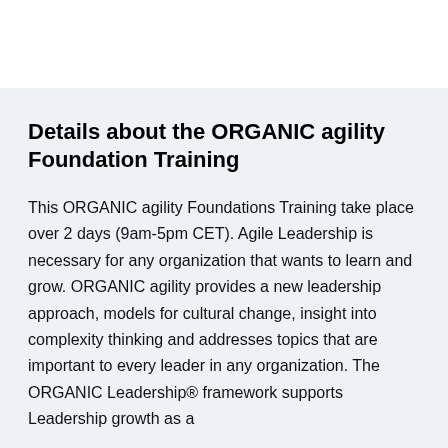Details about the ORGANIC agility Foundation Training
This ORGANIC agility Foundations Training take place over 2 days (9am-5pm CET). Agile Leadership is necessary for any organization that wants to learn and grow. ORGANIC agility provides a new leadership approach, models for cultural change, insight into complexity thinking and addresses topics that are important to every leader in any organization. The ORGANIC Leadership® framework supports Leadership growth as a